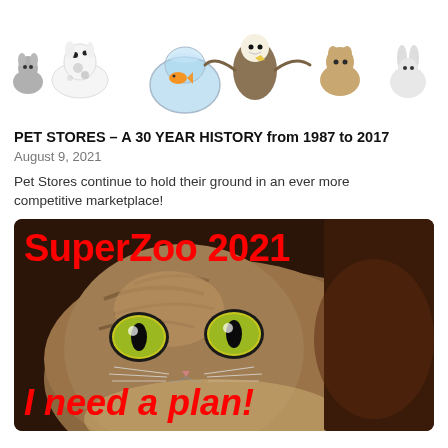[Figure (photo): Group of animals including cats, a dalmatian dog, a goldfish in a bowl, an eagle, a rabbit — white background]
PET STORES – A 30 YEAR HISTORY from 1987 to 2017
August 9, 2021
Pet Stores continue to hold their ground in an ever more competitive marketplace!
[Figure (photo): SuperZoo 2021 promotional image featuring a close-up photo of a tabby cat with wide eyes on a dark background, with red bold text reading 'SuperZoo 2021' at the top and 'I need a plan!' in italic red text at the bottom]